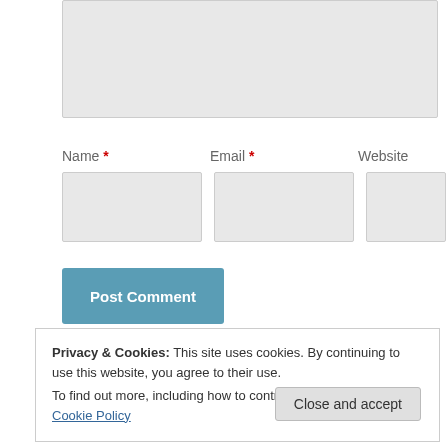[Figure (screenshot): Textarea input field (greyed out, partially visible at top of page)]
Name *
Email *
Website
[Figure (screenshot): Three input fields: Name, Email, Website — all empty and grey]
[Figure (screenshot): Post Comment button in teal/blue color]
Notify me of new comments via email
Privacy & Cookies: This site uses cookies. By continuing to use this website, you agree to their use.
To find out more, including how to control cookies, see here: Cookie Policy
Close and accept